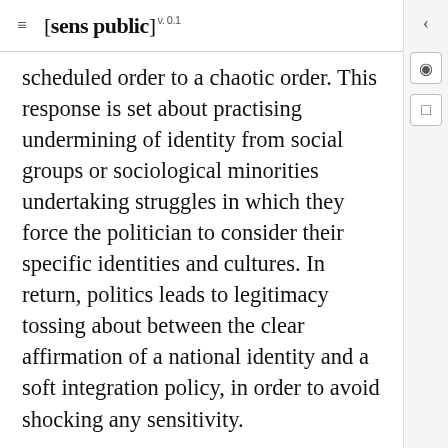[sens public] v. 0.1
scheduled order to a chaotic order. This response is set about practising undermining of identity from social groups or sociological minorities undertaking struggles in which they force the politician to consider their specific identities and cultures. In return, politics leads to legitimacy tossing about between the clear affirmation of a national identity and a soft integration policy, in order to avoid shocking any sensitivity.
The second way, which remains to be explored, is to first find another form of foundation for the political practice, to base the living together on something other than the beginning or the origin, ruined through